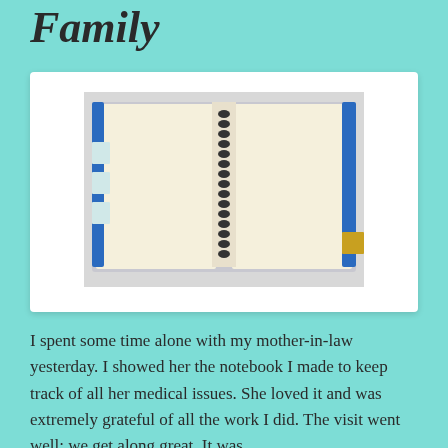Family
[Figure (photo): An open spiral-bound notebook with blue cover, showing two blank cream-colored pages. The notebook has tab dividers visible on the left side and right side.]
I spent some time alone with my mother-in-law yesterday. I showed her the notebook I made to keep track of all her medical issues. She loved it and was extremely grateful of all the work I did. The visit went well; we get along great. It was